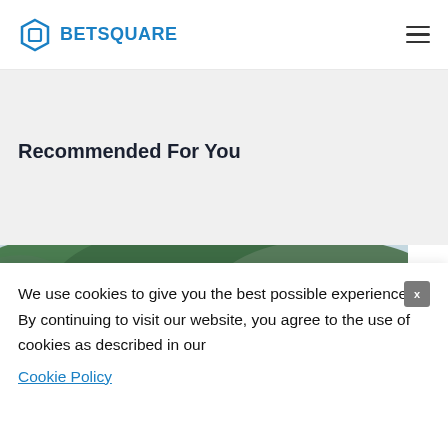BETSQUARE
Recommended For You
[Figure (photo): Motocross rider in yellow and red jersey with number 1400 sign, racing on a dirt track with green hillside in background]
We use cookies to give you the best possible experience. By continuing to visit our website, you agree to the use of cookies as described in our Cookie Policy